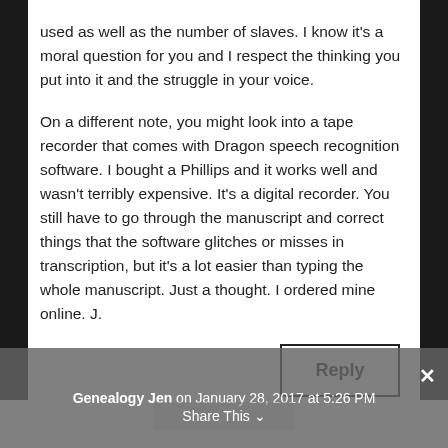used as well as the number of slaves. I know it's a moral question for you and I respect the thinking you put into it and the struggle in your voice.
On a different note, you might look into a tape recorder that comes with Dragon speech recognition software. I bought a Phillips and it works well and wasn't terribly expensive. It's a digital recorder. You still have to go through the manuscript and correct things that the software glitches or misses in transcription, but it's a lot easier than typing the whole manuscript. Just a thought. I ordered mine online. J.
Reply
Genealogy Jen on January 28, 2017 at 5:26 PM
Share This